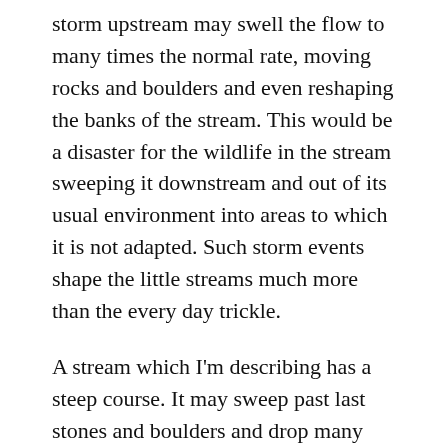storm upstream may swell the flow to many times the normal rate, moving rocks and boulders and even reshaping the banks of the stream. This would be a disaster for the wildlife in the stream sweeping it downstream and out of its usual environment into areas to which it is not adapted. Such storm events shape the little streams much more than the every day trickle.
A stream which I'm describing has a steep course. It may sweep past last stones and boulders and drop many metres for each dozen or so metres traversed. In many places it will reach places where the underlying geology changes and a waterfall forms or a cascade. A